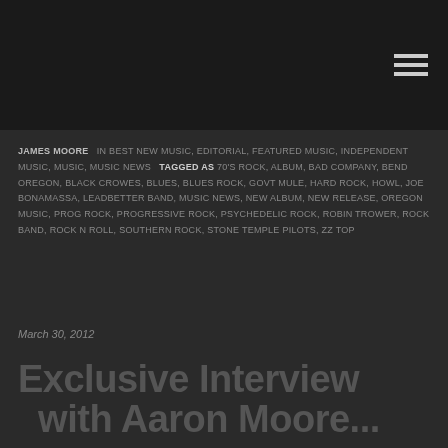JAMES MOORE IN BEST NEW MUSIC, EDITORIAL, FEATURED MUSIC, INDEPENDENT MUSIC, MUSIC, MUSIC NEWS TAGGED AS 70'S ROCK, ALBUM, BAD COMPANY, BEND OREGON, BLACK CROWES, BLUES, BLUES ROCK, GOVT MULE, HARD ROCK, HOWL, JOE BONAMASSA, LEADBETTER BAND, MUSIC NEWS, NEW ALBUM, NEW RELEASE, OREGON MUSIC, PROG ROCK, PROGRESSIVE ROCK, PSYCHEDELIC ROCK, ROBIN TROWER, ROCK BAND, ROCK N ROLL, SOUTHERN ROCK, STONE TEMPLE PILOTS, ZZ TOP
March 30, 2012
Exclusive Interview with Aaron Moore...